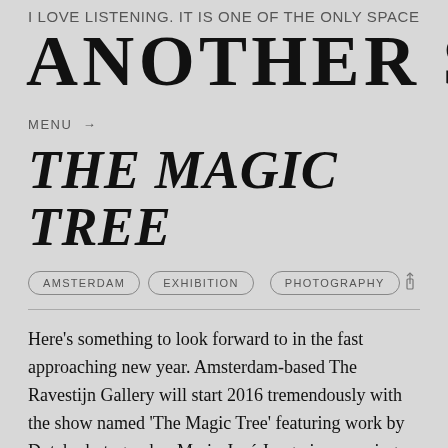I LOVE LISTENING. IT IS ONE OF THE ONLY SPACES WHERE
ANOTHER SOME
MENU →
THE MAGIC TREE
AMSTERDAM   EXHIBITION   PHOTOGRAPHY
Here's something to look forward to in the fast approaching new year. Amsterdam-based The Ravestijn Gallery will start 2016 tremendously with the show named 'The Magic Tree' featuring work by Dutch photographer Marie-José Jongerius, opening on the 15th of January. The story of the show starts all the way back in 1999, when Jongerius left for Los Angeles with the mission to photograph writers, actors and directors. With each car ride to a